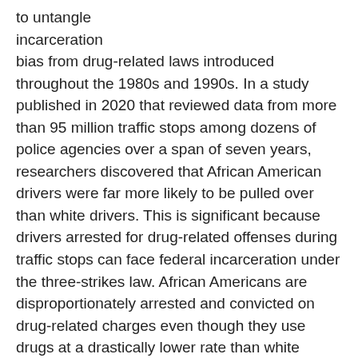to untangle
incarceration
bias from drug-related laws introduced throughout the 1980s and 1990s. In a study published in 2020 that reviewed data from more than 95 million traffic stops among dozens of police agencies over a span of seven years, researchers discovered that African American drivers were far more likely to be pulled over than white drivers. This is significant because drivers arrested for drug-related offenses during traffic stops can face federal incarceration under the three-strikes law. African Americans are disproportionately arrested and convicted on drug-related charges even though they use drugs at a drastically lower rate than white Americans.
The Underpinnings of Prison Bias
Laws and systems going back decades continue to fuel the flooding of prisons with African Americans in disproportionate